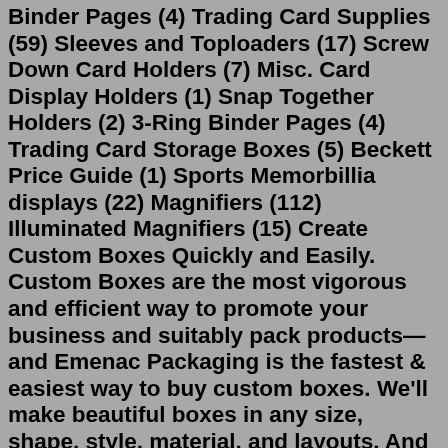Binder Pages (4) Trading Card Supplies (59) Sleeves and Toploaders (17) Screw Down Card Holders (7) Misc. Card Display Holders (1) Snap Together Holders (2) 3-Ring Binder Pages (4) Trading Card Storage Boxes (5) Beckett Price Guide (1) Sports Memorbillia displays (22) Magnifiers (112) Illuminated Magnifiers (15) Create Custom Boxes Quickly and Easily. Custom Boxes are the most vigorous and efficient way to promote your business and suitably pack products—and Emenac Packaging is the fastest & easiest way to buy custom boxes. We'll make beautiful boxes in any size, shape, style, material, and layouts. And print any ink colors, text & fonts, artworks ...Photo card sleeves kpop holographic little stars 10pcs ad by CalaByCammie Ad from shop CalaByCammie CalaByCammie From shop CalaByCammie. 5 out of 5 stars (668) $ 3.88 FREE shipping Add to Favorites Minimalist Photo Booth Insert Card, Modern Wedding Photobooth Strip, Photo Booth Frame, Bookmark, 100% Editable. Templett #008-101PRI ... Polyvinyl chloride